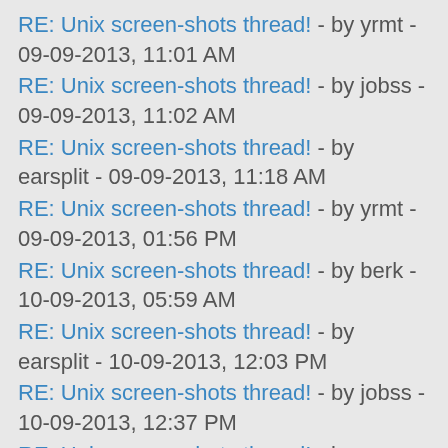RE: Unix screen-shots thread! - by yrmt - 09-09-2013, 11:01 AM
RE: Unix screen-shots thread! - by jobss - 09-09-2013, 11:02 AM
RE: Unix screen-shots thread! - by earsplit - 09-09-2013, 11:18 AM
RE: Unix screen-shots thread! - by yrmt - 09-09-2013, 01:56 PM
RE: Unix screen-shots thread! - by berk - 10-09-2013, 05:59 AM
RE: Unix screen-shots thread! - by earsplit - 10-09-2013, 12:03 PM
RE: Unix screen-shots thread! - by jobss - 10-09-2013, 12:37 PM
RE: Unix screen-shots thread! - by earsplit - 10-09-2013, 12:39 PM
RE: Unix screen-shots thread! - by jobss - 10-09-2013, 12:47 PM
RE: Unix screen-shots thread! - by dgz - 10-09-2013, 02:40 PM
RE: Unix screen-shots thread! - by jobss - 10-09-2013, 03:45 PM